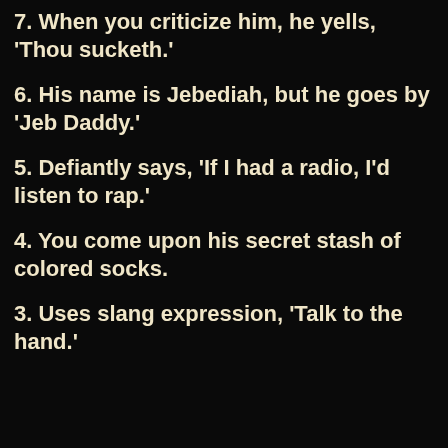7. When you criticize him, he yells, 'Thou sucketh.'
6. His name is Jebediah, but he goes by 'Jeb Daddy.'
5. Defiantly says, 'If I had a radio, I'd listen to rap.'
4. You come upon his secret stash of colored socks.
3. Uses slang expression, 'Talk to the hand.'